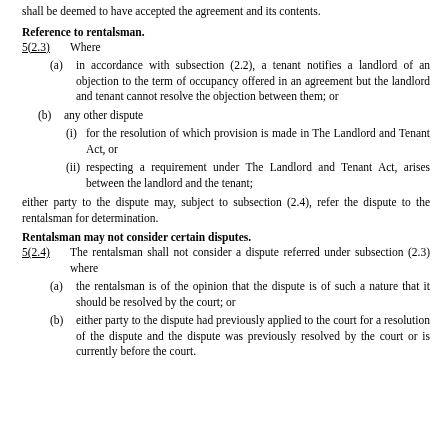shall be deemed to have accepted the agreement and its contents.
Reference to rentalsman.
5(2.3)      Where
(a) in accordance with subsection (2.2), a tenant notifies a landlord of an objection to the term of occupancy offered in an agreement but the landlord and tenant cannot resolve the objection between them; or
(b) any other dispute
(i) for the resolution of which provision is made in The Landlord and Tenant Act, or
(ii) respecting a requirement under The Landlord and Tenant Act, arises between the landlord and the tenant;
either party to the dispute may, subject to subsection (2.4), refer the dispute to the rentalsman for determination.
Rentalsman may not consider certain disputes.
5(2.4)      The rentalsman shall not consider a dispute referred under subsection (2.3) where
(a) the rentalsman is of the opinion that the dispute is of such a nature that it should be resolved by the court; or
(b) either party to the dispute had previously applied to the court for a resolution of the dispute and the dispute was previously resolved by the court or is currently before the court.